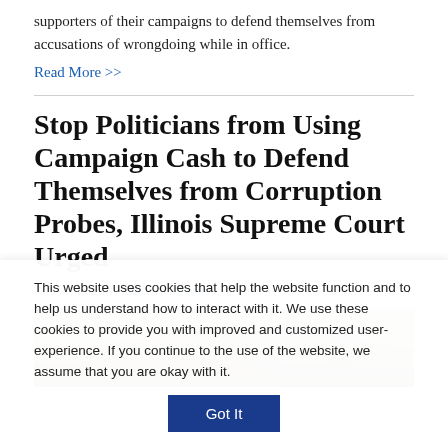supporters of their campaigns to defend themselves from accusations of wrongdoing while in office.
Read More >>
Stop Politicians from Using Campaign Cash to Defend Themselves from Corruption Probes, Illinois Supreme Court Urged
Jan 19, 2022 | Heather Cherone
[Figure (photo): Blurred close-up photograph of US currency (hundred dollar bills)]
This website uses cookies that help the website function and to help us understand how to interact with it. We use these cookies to provide you with improved and customized user-experience. If you continue to the use of the website, we assume that you are okay with it.
Got It